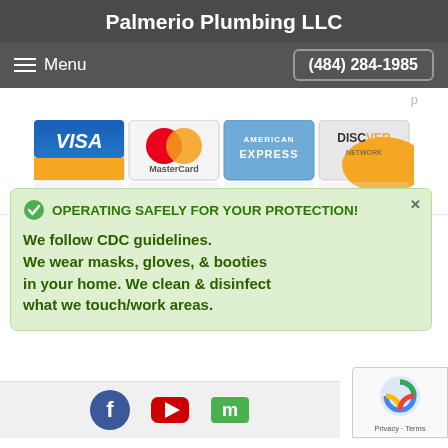Palmerio Plumbing LLC
Menu    (484) 284-1985
[Figure (logo): Credit card logos: Visa, MasterCard, American Express, Discover Network]
OPERATING SAFELY FOR YOUR PROTECTION!
We follow CDC guidelines.
We wear masks, gloves, & booties in your home. We clean & disinfect what we touch/work areas.
[Figure (logo): Social media and business icons at bottom: Facebook, YouTube, and another icon]
[Figure (logo): Google reCAPTCHA badge - Privacy · Terms]